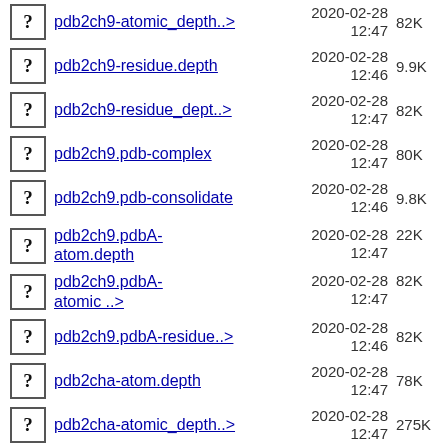pdb2ch9-atomic_depth..> 2020-02-28 12:47 82K
pdb2ch9-residue.depth 2020-02-28 12:46 9.9K
pdb2ch9-residue_dept..> 2020-02-28 12:47 82K
pdb2ch9.pdb-complex 2020-02-28 12:47 80K
pdb2ch9.pdb-consolidate 2020-02-28 12:46 9.8K
pdb2ch9.pdbA-atom.depth 2020-02-28 12:47 22K
pdb2ch9.pdbA-atomic ..> 2020-02-28 12:47 82K
pdb2ch9.pdbA-residue..> 2020-02-28 12:46 82K
pdb2cha-atom.depth 2020-02-28 12:47 78K
pdb2cha-atomic_depth..> 2020-02-28 12:47 275K
pdb2cha-residue.depth 2020-02-28 12:46 37K
pdb2cha-residue_dept..> 2020-02-28